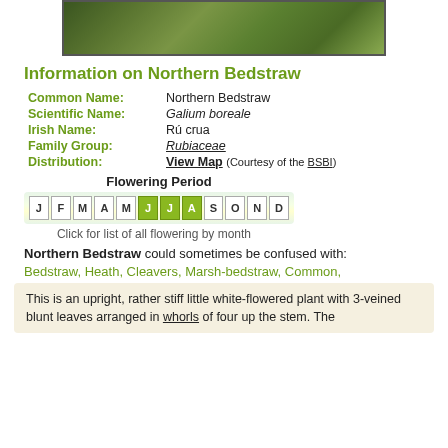[Figure (photo): Photo of Northern Bedstraw plant with white flowers and green foliage]
Information on Northern Bedstraw
| Common Name: | Northern Bedstraw |
| Scientific Name: | Galium boreale |
| Irish Name: | Rú crua |
| Family Group: | Rubiaceae |
| Distribution: | View Map (Courtesy of the BSBI) |
Flowering Period
[Figure (infographic): Flowering period calendar showing months J F M A M J J A S O N D with June, July, August highlighted in green]
Click for list of all flowering by month
Northern Bedstraw could sometimes be confused with:
Bedstraw, Heath, Cleavers, Marsh-bedstraw, Common,
This is an upright, rather stiff little white-flowered plant with 3-veined blunt leaves arranged in whorls of four up the stem. The